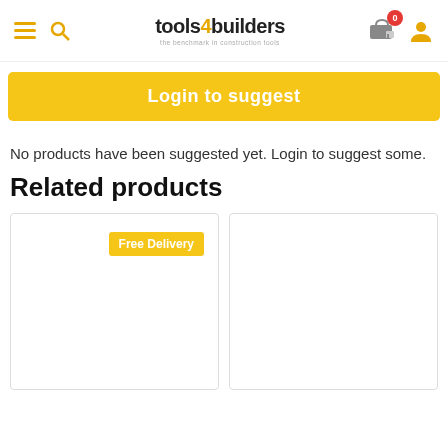[Figure (logo): tools4builders logo with hamburger menu, search icon, cart with badge 0, and user icon in header]
Login to suggest
No products have been suggested yet. Login to suggest some.
Related products
[Figure (other): Product card with Free Delivery badge, empty white product card area]
[Figure (other): Empty white product card area, no badge]